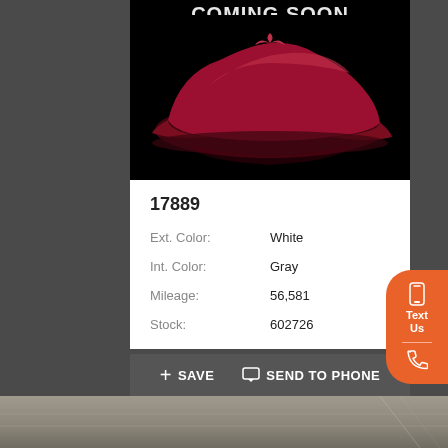[Figure (photo): Black background image with red draped cloth over a car shape and 'COMING SOON' text at the top in white letters]
17889
Ext. Color:   White
Int. Color:   Gray
Mileage:   56,581
Stock:   602726
+ SAVE     💬 SEND TO PHONE